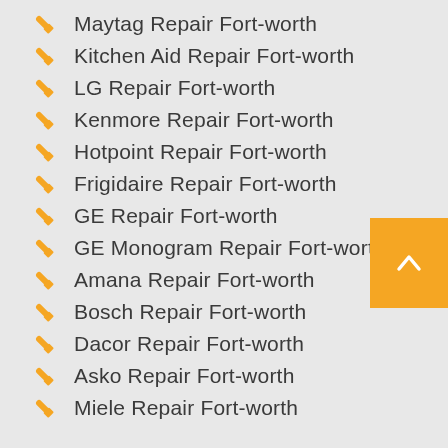Maytag Repair Fort-worth
Kitchen Aid Repair Fort-worth
LG Repair Fort-worth
Kenmore Repair Fort-worth
Hotpoint Repair Fort-worth
Frigidaire Repair Fort-worth
GE Repair Fort-worth
GE Monogram Repair Fort-worth
Amana Repair Fort-worth
Bosch Repair Fort-worth
Dacor Repair Fort-worth
Asko Repair Fort-worth
Miele Repair Fort-worth